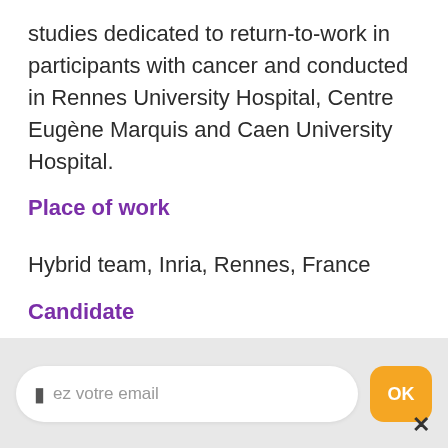studies dedicated to return-to-work in participants with cancer and conducted in Rennes University Hospital, Centre Eugène Marquis and Caen University Hospital.
Place of work
Hybrid team, Inria, Rennes, France
Candidate
Should aim at completing a PhD and hold a Master degree in Computer Science. He/she should